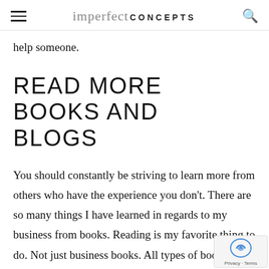imperfect CONCEPTS
help someone.
READ MORE BOOKS AND BLOGS
You should constantly be striving to learn more from others who have the experience you don't. There are so many things I have learned in regards to my business from books. Reading is my favorite thing to do. Not just business books. All types of books can give you the